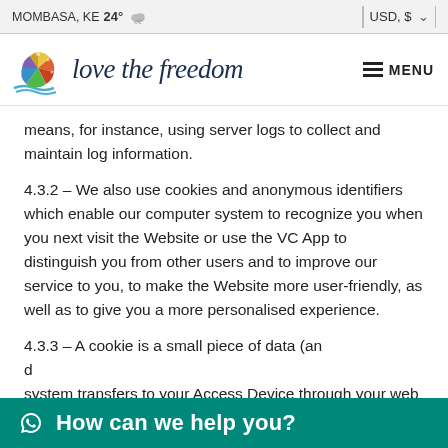MOMBASA, KE  24°  USD, $
[Figure (logo): Love the Freedom logo with colorful sun/tree and script text, plus MENU hamburger button]
means, for instance, using server logs to collect and maintain log information.
4.3.2 – We also use cookies and anonymous identifiers which enable our computer system to recognize you when you next visit the Website or use the VC App to distinguish you from other users and to improve our service to you, to make the Website more user-friendly, as well as to give you a more personalised experience.
4.3.3 – A cookie is a small piece of data (an d... computer system transfers to your Access Device through your web browser
How can we help you?